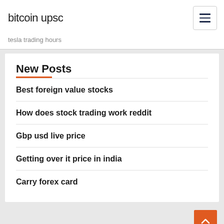bitcoin upsc
tesla trading hours
New Posts
Best foreign value stocks
How does stock trading work reddit
Gbp usd live price
Getting over it price in india
Carry forex card